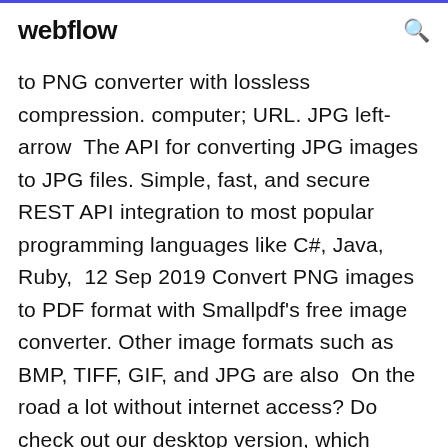webflow
to PNG converter with lossless compression. computer; URL. JPG left-arrow  The API for converting JPG images to JPG files. Simple, fast, and secure REST API integration to most popular programming languages like C#, Java, Ruby,  12 Sep 2019 Convert PNG images to PDF format with Smallpdf's free image converter. Other image formats such as BMP, TIFF, GIF, and JPG are also  On the road a lot without internet access? Do check out our desktop version, which allows you to convert PDF documents to JPG, PNG, GIF, TIFF, and BMP offline.
Our free PDF to JPG online converter is the simplest way to convert PDF to JPG. Nothing to